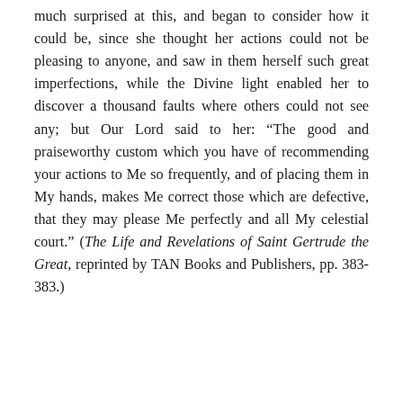much surprised at this, and began to consider how it could be, since she thought her actions could not be pleasing to anyone, and saw in them herself such great imperfections, while the Divine light enabled her to discover a thousand faults where others could not see any; but Our Lord said to her: “The good and praiseworthy custom which you have of recommending your actions to Me so frequently, and of placing them in My hands, makes Me correct those which are defective, that they may please Me perfectly and all My celestial court.” (The Life and Revelations of Saint Gertrude the Great, reprinted by TAN Books and Publishers, pp. 383-383.)